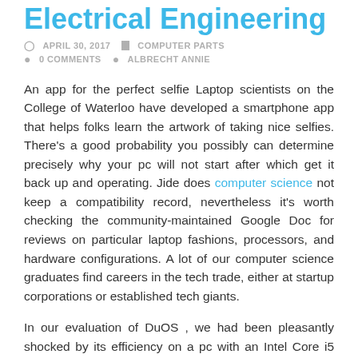Electrical Engineering
APRIL 30, 2017   COMPUTER PARTS   0 COMMENTS   ALBRECHT ANNIE
An app for the perfect selfie Laptop scientists on the College of Waterloo have developed a smartphone app that helps folks learn the artwork of taking nice selfies. There's a good probability you possibly can determine precisely why your pc will not start after which get it back up and operating. Jide does computer science not keep a compatibility record, nevertheless it's worth checking the community-maintained Google Doc for reviews on particular laptop fashions, processors, and hardware configurations. A lot of our computer science graduates find careers in the tech trade, either at startup corporations or established tech giants.
In our evaluation of DuOS , we had been pleasantly shocked by its efficiency on a pc with an Intel Core i5 clocked at 3.3GHz with 8GB of RAM. The PUT UP on your laptop may happen within the background, behind your laptop maker's